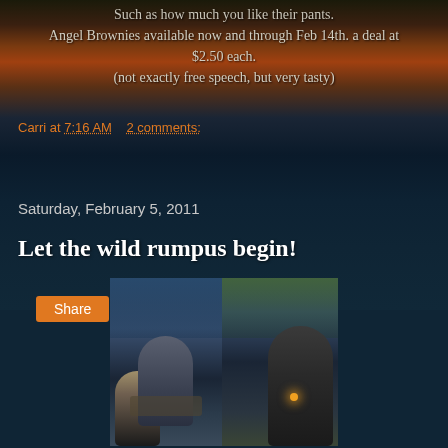Such as how much you like their pants. Angel Brownies available now and through Feb 14th. a deal at $2.50 each. (not exactly free speech, but very tasty)
Carri at 7:16 AM    2 comments:
Share
Saturday, February 5, 2011
Let the wild rumpus begin!
[Figure (photo): Two-panel composite photo showing people seated at a restaurant table at dusk, with winter trees visible through windows in the background. A child with blond hair sits on the left, a woman in the center, and another person on the right. Candlelight illuminates the table.]